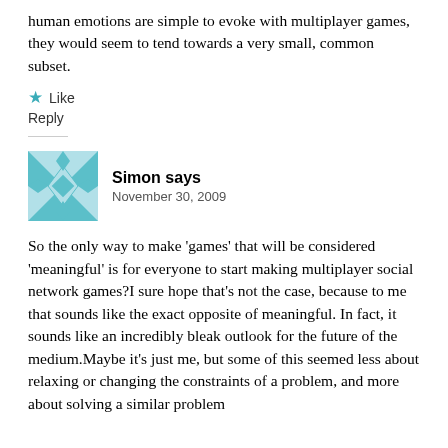human emotions are simple to evoke with multiplayer games, they would seem to tend towards a very small, common subset.
★ Like
Reply
Simon says
November 30, 2009
So the only way to make 'games' that will be considered 'meaningful' is for everyone to start making multiplayer social network games?I sure hope that's not the case, because to me that sounds like the exact opposite of meaningful. In fact, it sounds like an incredibly bleak outlook for the future of the medium.Maybe it's just me, but some of this seemed less about relaxing or changing the constraints of a problem, and more about solving a similar problem